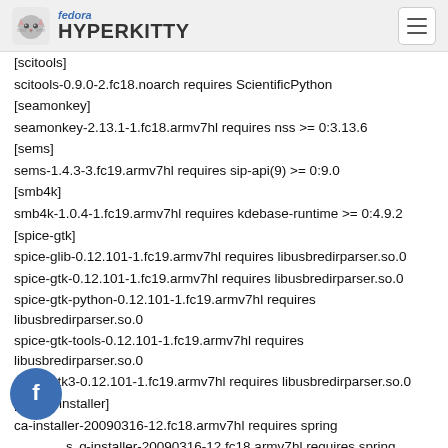fedora HYPERKITTY
[scitools]
scitools-0.9.0-2.fc18.noarch requires ScientificPython
[seamonkey]
seamonkey-2.13.1-1.fc18.armv7hl requires nss >= 0:3.13.6
[sems]
sems-1.4.3-3.fc19.armv7hl requires sip-api(9) >= 0:9.0
[smb4k]
smb4k-1.0.4-1.fc19.armv7hl requires kdebase-runtime >= 0:4.9.2
[spice-gtk]
spice-glib-0.12.101-1.fc19.armv7hl requires libusbredirparser.so.0
spice-gtk-0.12.101-1.fc19.armv7hl requires libusbredirparser.so.0
spice-gtk-python-0.12.101-1.fc19.armv7hl requires libusbredirparser.so.0
spice-gtk-tools-0.12.101-1.fc19.armv7hl requires libusbredirparser.so.0
spice-gtk3-0.12.101-1.fc19.armv7hl requires libusbredirparser.so.0
[spring-installer]
ca-installer-20090316-12.fc18.armv7hl requires spring
s..g-installer-20090316-12.fc18.armv7hl requires spring
[spring-maps-default]